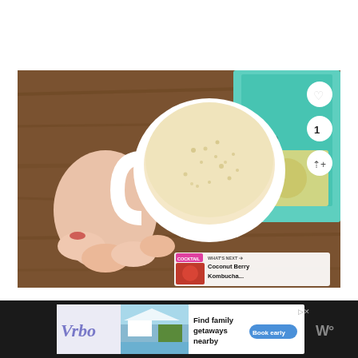[Figure (photo): Overhead photo of a hand holding a white mug filled with a creamy latte-like drink with small bubbles on the surface, set on a wooden table. In the upper right corner is a teal/green package labeled 'ANTIO COC' with a coconut illustration. UI overlay elements include a heart icon button, a count button showing '1', and a share button on the right side. A 'WHAT'S NEXT' bar in the lower right shows a thumbnail and text 'Coconut Berry Kombucha...'.]
[Figure (screenshot): Advertisement banner on dark background showing Vrbo logo on left, a beach house photo in center-left, text 'Find family getaways nearby' with a blue 'Book early' button, and a 'W' logo on the right.]